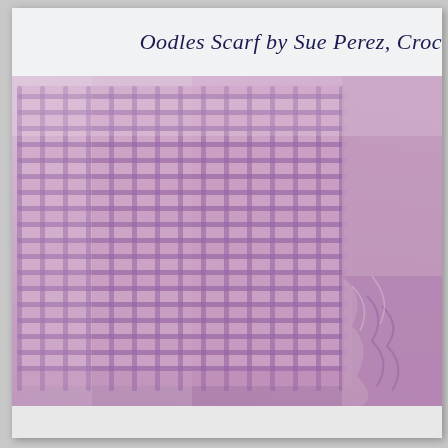Oodles Scarf by Sue Perez, Croc
[Figure (photo): Close-up photograph of a lavender/mauve crocheted scarf showing a filet crochet mesh pattern with open squares formed by double crochet stitches. The scarf is folded and draped, showing multiple rows of the lace-like grid pattern. The yarn is a soft purple-pink color. The right side shows a ruffled or gathered edge.]